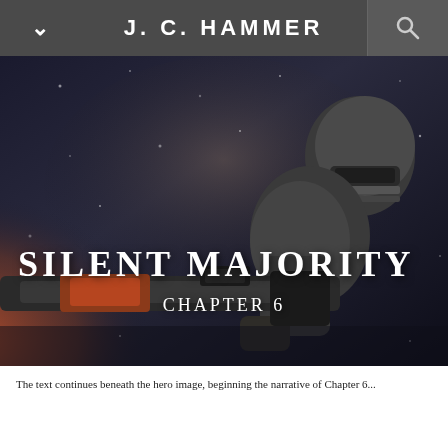J. C. HAMMER
[Figure (illustration): Dark sci-fi military scene showing an armored soldier holding a large weapon/gun, with a dramatic stormy/snowy background with light particles. Overlay text reads 'SILENT MAJORITY' and 'CHAPTER 6'.]
SILENT MAJORITY
CHAPTER 6
The text continues beneath the hero image area...